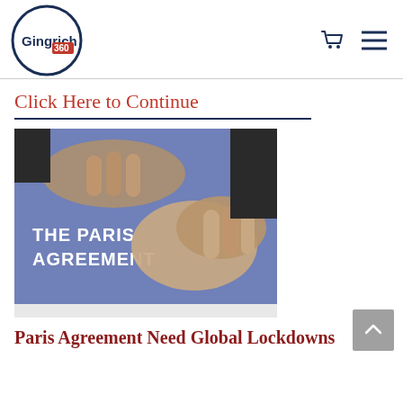Gingrich 360
Click Here to Continue
[Figure (photo): Hands holding a blue document folder titled 'THE PARIS AGREEMENT']
Paris Agreement Need Global Lockdowns